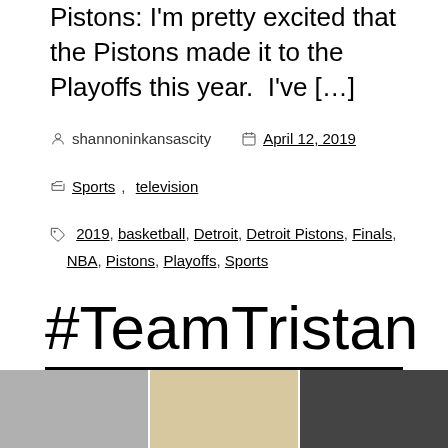Pistons: I'm pretty excited that the Pistons made it to the Playoffs this year.  I've […]
shannoninkansascity   April 12, 2019
Sports, television
2019, basketball, Detroit, Detroit Pistons, Finals, NBA, Pistons, Playoffs, Sports
#TeamTristan
[Figure (photo): Three partially visible photos at the bottom of the page showing people]